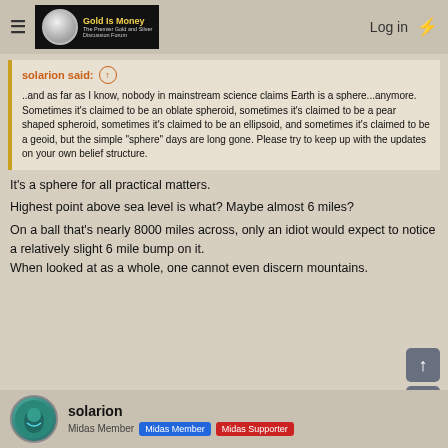Gold Is Money — The Premier Gold and Silver Discussion Forum | Log in
solarion said: ↑
..and as far as I know, nobody in mainstream science claims Earth is a sphere...anymore. Sometimes it's claimed to be an oblate spheroid, sometimes it's claimed to be a pear shaped spheroid, sometimes it's claimed to be an ellipsoid, and sometimes it's claimed to be a geoid, but the simple "sphere" days are long gone. Please try to keep up with the updates on your own belief structure.
It's a sphere for all practical matters.
Highest point above sea level is what? Maybe almost 6 miles?
On a ball that's nearly 8000 miles across, only an idiot would expect to notice a relatively slight 6 mile bump on it.
When looked at as a whole, one cannot even discern mountains.
solarion
Midas Member  Midas Member  Midas Supporter